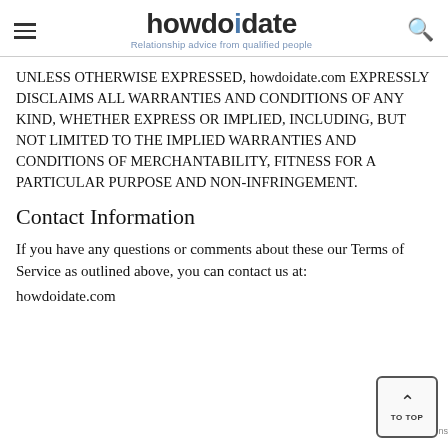howdoidate — Relationship advice from qualified people
UNLESS OTHERWISE EXPRESSED, howdoidate.com EXPRESSLY DISCLAIMS ALL WARRANTIES AND CONDITIONS OF ANY KIND, WHETHER EXPRESS OR IMPLIED, INCLUDING, BUT NOT LIMITED TO THE IMPLIED WARRANTIES AND CONDITIONS OF MERCHANTABILITY, FITNESS FOR A PARTICULAR PURPOSE AND NON-INFRINGEMENT.
Contact Information
If you have any questions or comments about these our Terms of Service as outlined above, you can contact us at:
howdoidate.com